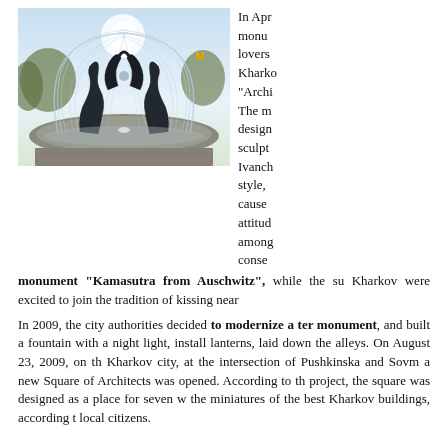[Figure (photo): Photograph of an ornate fountain with water arcing in large sprays, dark sculptural figures of lovers at the top center forming an arch, dolphin sculptures, and a circular pool. Background shows trees and a McDonald's sign. Bright sky.]
In Apr monument lovers Kharko "Archi The m design sculpt Ivanch style, cause attitud among conse monument "Kamasutra from Auschwitz", while the su Kharkov were excited to join the tradition of kissing near
In 2009, the city authorities decided to modernize a ter monument, and built a fountain with a night light, install lanterns, laid down the alleys. On August 23, 2009, on th Kharkov city, at the intersection of Pushkinska and Sovm a new Square of Architects was opened. According to th project, the square was designed as a place for seven w the miniatures of the best Kharkov buildings, according t local citizens.